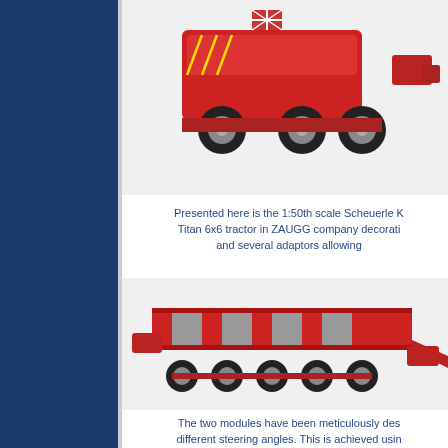[Figure (photo): Red Scheuerle Kamag Titan 6x6 tractor scale model, viewed from rear angle, showing the rear chassis and wheels, in ZAUGG company decoration]
Presented here is the 1:50th scale Scheuerle K Titan 6x6 tractor in ZAUGG company decorati and several adaptors allowing
[Figure (photo): Red multi-axle low-loader trailer scale model with 5 axles, viewed from side/rear angle, showing the flat bed deck with grey stripes and outrigger ramps]
The two modules have been meticulously des different steering angles. This is achieved usin the steering bars are all fully assembled out o